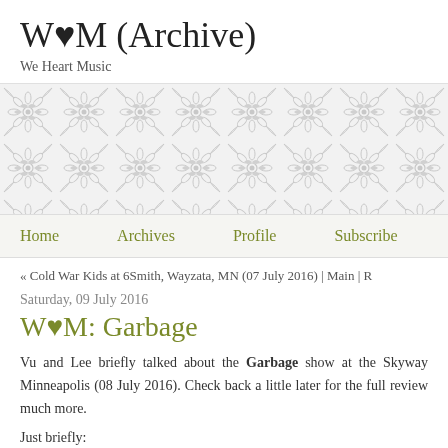W♥M (Archive)
We Heart Music
[Figure (illustration): Decorative damask/floral pattern band in light grey on white background]
Home   Archives   Profile   Subscribe
« Cold War Kids at 6Smith, Wayzata, MN (07 July 2016) | Main | R
Saturday, 09 July 2016
W♥M: Garbage
Vu and Lee briefly talked about the Garbage show at the Skyway Minneapolis (08 July 2016). Check back a little later for the full review much more.
Just briefly: